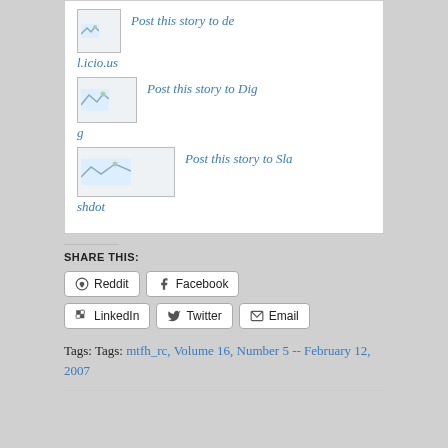[Figure (screenshot): Social sharing link: Post this story to de l.icio.us with image placeholder]
[Figure (screenshot): Social sharing link: Post this story to Digg with image placeholder]
[Figure (screenshot): Social sharing link: Post this story to Slashdot with image placeholder]
SHARE THIS:
Reddit
Facebook
LinkedIn
Twitter
Email
Tags: Tags: mtfh_rc, Volume 16, Number 5 -- February 12, 2007